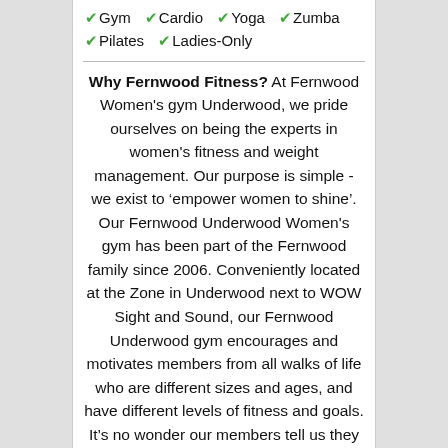✓Gym  ✓Cardio  ✓Yoga  ✓Zumba  ✓Pilates  ✓Ladies-Only
Why Fernwood Fitness? At Fernwood Women's gym Underwood, we pride ourselves on being the experts in women's fitness and weight management. Our purpose is simple - we exist to 'empower women to shine'. Our Fernwood Underwood Women's gym has been part of the Fernwood family since 2006. Conveniently located at the Zone in Underwood next to WOW Sight and Sound, our Fernwood Underwood gym encourages and motivates members from all walks of life who are different sizes and ages, and have different levels of fitness and goals. It's no wonder our members tell us they look forward to